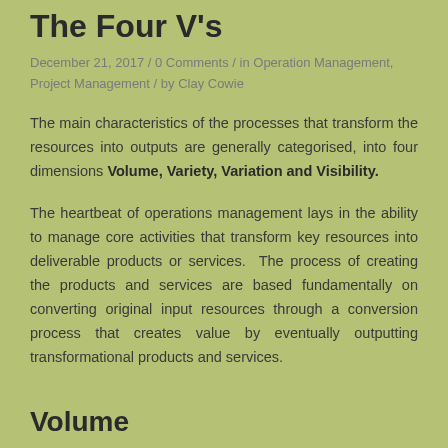The Four V's
December 21, 2017 / 0 Comments / in Operation Management, Project Management / by Clay Cowie
The main characteristics of the processes that transform the resources into outputs are generally categorised, into four dimensions Volume, Variety, Variation and Visibility.
The heartbeat of operations management lays in the ability to manage core activities that transform key resources into deliverable products or services. The process of creating the products and services are based fundamentally on converting original input resources through a conversion process that creates value by eventually outputting transformational products and services.
Volume